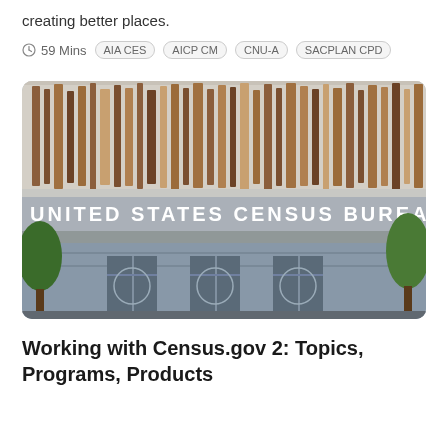creating better places.
59 Mins  AIA CES  AICP CM  CNU-A  SACPLAN CPD
[Figure (photo): Exterior photograph of the United States Census Bureau building, showing the entrance with revolving doors, a sign reading 'UNITED STATES CENSUS BUREAU', wooden decorative slats on the upper facade, and green trees visible on the sides.]
Working with Census.gov 2: Topics, Programs, Products